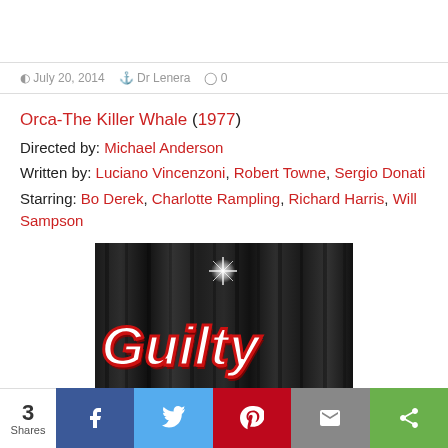July 20, 2014  Dr Lenera  0
Orca-The Killer Whale (1977)
Directed by: Michael Anderson
Written by: Luciano Vincenzoni, Robert Towne, Sergio Donati
Starring: Bo Derek, Charlotte Rampling, Richard Harris, Will Sampson
[Figure (photo): Movie title card image showing 'Guilty' text in retro red and white lettering with a sparkle effect against dark curtain background]
3 Shares | Facebook | Twitter | Pinterest | Email | Share